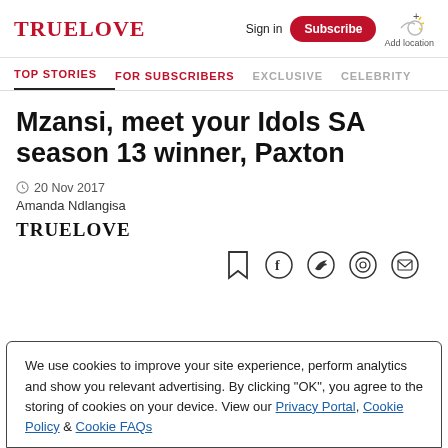TRUELOVE | Sign in | Subscribe | Add location
TOP STORIES | FOR SUBSCRIBERS | EXCLUSIVE | CELEBRITY
Mzansi, meet your Idols SA season 13 winner, Paxton
20 Nov 2017
Amanda Ndlangisa
[Figure (logo): TRUELOVE magazine logo in black]
[Figure (infographic): Social share icons: bookmark, facebook, twitter, whatsapp, email]
We use cookies to improve your site experience, perform analytics and show you relevant advertising. By clicking "OK", you agree to the storing of cookies on your device. View our Privacy Portal, Cookie Policy & Cookie FAQs